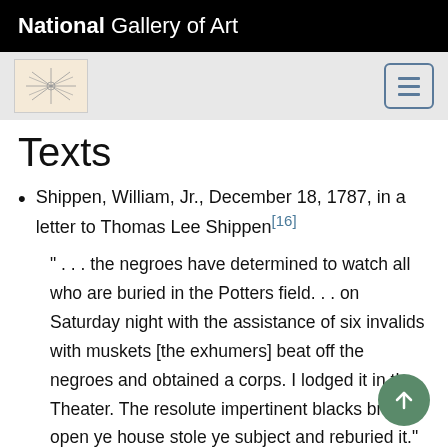National Gallery of Art
Texts
Shippen, William, Jr., December 18, 1787, in a letter to Thomas Lee Shippen[16]
" . . . the negroes have determined to watch all who are buried in the Potters field. . . on Saturday night with the assistance of six invalids with muskets [the exhumers] beat off the negroes and obtained a corps. I lodged it in the Theater. The resolute impertinent blacks broke open ye house stole ye subject and reburied it."